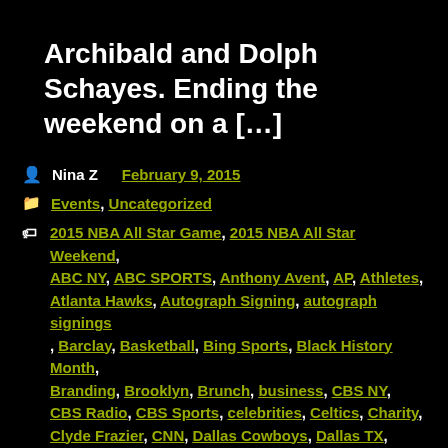Archibald and Dolph Schayes. Ending the weekend on a […]
Nina Z  February 9, 2015
Events, Uncategorized
2015 NBA All Star Game, 2015 NBA All Star Weekend, ABC NY, ABC SPORTS, Anthony Avent, AP, Athletes, Atlanta Hawks, Autograph Signing, autograph signings, Barclay, Basketball, Bing Sports, Black History Month, Branding, Brooklyn, Brunch, business, CBS NY, CBS Radio, CBS Sports, celebrities, Celtics, Charity, Clyde Frazier, CNN, Dallas Cowboys, Dallas TX, Dolph Schayes, Elgin Baylor, Entertainment, Fans, FOX Sports, Games, Good Morning America, Horace Grant, Hotels, Jalen Rose, John Salley., Johnny Newman, Keith Dixon, Kenny Anderson, Knicks, LeBron James, Magic Johnson, Marriott Marquis Astor Ballroom, Media Alert, Music,